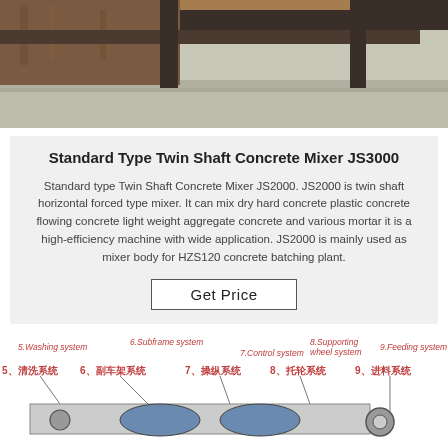[Figure (photo): Top portion of a concrete mixer or heavy machinery, showing metal structure with rust, viewed from below/side angle on a concrete surface.]
Standard Type Twin Shaft Concrete Mixer JS3000
Standard type Twin Shaft Concrete Mixer JS2000. JS2000 is twin shaft horizontal forced type mixer. It can mix dry hard concrete plastic concrete flowing concrete light weight aggregate concrete and various mortar it is a high-efficiency machine with wide application. JS2000 is mainly used as mixer body for HZS120 concrete batching plant.
Get Price
[Figure (engineering-diagram): Labeled engineering diagram of a concrete mixer showing components: 5.Washing system / 5、清洗系统, 6.Subframe system / 6、副车架系统, 7.Control system / 7、操纵系统, 8.Supporting wheel system / 8、托轮系统, 9.Feeding system / 9、进料系统, with lines pointing to parts of the machine.]